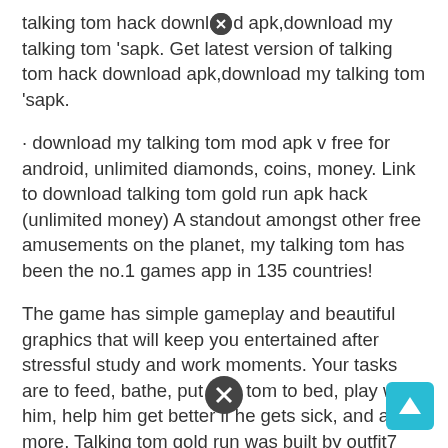talking tom hack download apk,download my talking tom 'sapk. Get latest version of talking tom hack download apk,download my talking tom 'sapk.
· download my talking tom mod apk v free for android, unlimited diamonds, coins, money. Link to download talking tom gold run apk hack (unlimited money) A standout amongst other free amusements on the planet, my talking tom has been the no.1 games app in 135 countries!
The game has simple gameplay and beautiful graphics that will keep you entertained after stressful study and work moments. Your tasks are to feed, bathe, put little tom to bed, play with him, help him get better if he gets sick, and a lot more. Talking tom gold run was built by outfit7 with gameplay and images following trend of gentle entertainment but equally